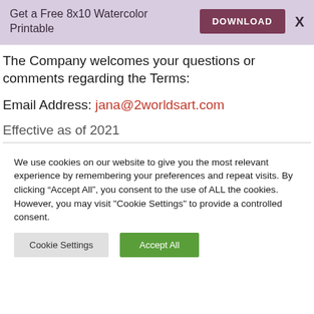[Figure (screenshot): Purple/lavender banner with 'Get a Free 8x10 Watercolor Printable' text on left, a dark maroon DOWNLOAD button, and an X close button on the right.]
The Company welcomes your questions or comments regarding the Terms:
Email Address: jana@2worldsart.com
Effective as of 2021
We use cookies on our website to give you the most relevant experience by remembering your preferences and repeat visits. By clicking “Accept All”, you consent to the use of ALL the cookies. However, you may visit "Cookie Settings" to provide a controlled consent.